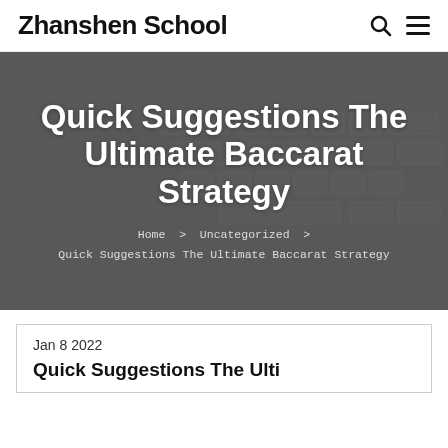Zhanshen School
[Figure (screenshot): Hero banner with dark grey background showing a blurred keyboard image, large white bold title 'Quick Suggestions The Ultimate Baccarat Strategy', and breadcrumb navigation 'Home > Uncategorized > Quick Suggestions The Ultimate Baccarat Strategy']
Quick Suggestions The Ultimate Baccarat Strategy
Home > Uncategorized > Quick Suggestions The Ultimate Baccarat Strategy
Jan 8 2022
Quick Suggestions The Ulti...